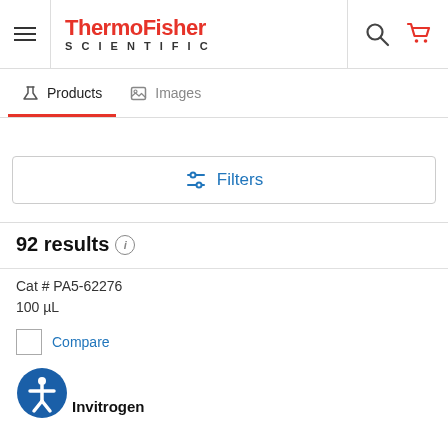ThermoFisher SCIENTIFIC
Products  Images
Filters
92 results
Cat # PA5-62276
100 µL
Compare
Invitrogen